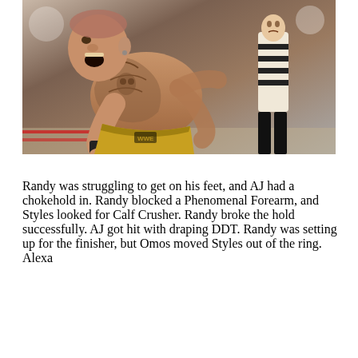[Figure (photo): A heavily tattooed wrestler (Randy Orton) bent over in a wrestling ring, yelling or grimacing, wearing yellow trunks and a black wrist wrap. A referee in black and white stripes is visible in the background.]
Randy was struggling to get on his feet, and AJ had a chokehold in. Randy blocked a Phenomenal Forearm, and Styles looked for Calf Crusher. Randy broke the hold successfully. AJ got hit with draping DDT. Randy was setting up for the finisher, but Omos moved Styles out of the ring. Alexa